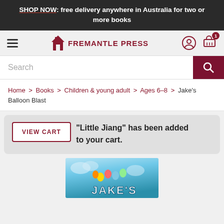SHOP NOW: free delivery anywhere in Australia for two or more books
[Figure (logo): Fremantle Press logo with building icon and navigation bar including hamburger menu, user icon, and cart with badge showing 1 item]
Search
Home > Books > Children & young adult > Ages 6–8 > Jake's Balloon Blast
VIEW CART  "Little Jiang" has been added to your cart.
[Figure (photo): Jake's Balloon Blast book cover with colorful balloons on a blue background showing the word JAKE'S]